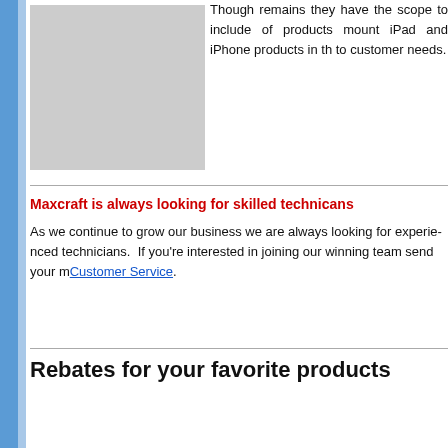[Figure (photo): Grey placeholder image rectangle]
Though remains they have the scope to include of products mount iPad and iPhone products in the to customer needs.
Maxcraft is always looking for skilled technicans
As we continue to grow our business we are always looking for experienced technicians. If you're interested in joining our winning team send your resume to Customer Service.
Rebates for your favorite products